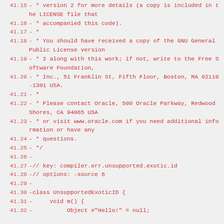41.15 - * version 2 for more details (a copy is included in the LICENSE file that
41.16 - * accompanied this code).
41.17 - *
41.18 - * You should have received a copy of the GNU General Public License version
41.19 - * 2 along with this work; if not, write to the Free Software Foundation,
41.20 - * Inc., 51 Franklin St, Fifth Floor, Boston, MA 02110-1301 USA.
41.21 - *
41.22 - * Please contact Oracle, 500 Oracle Parkway, Redwood Shores, CA 94065 USA
41.23 - * or visit www.oracle.com if you need additional information or have any
41.24 - * questions.
41.25 - */
41.26 -
41.27 -// key: compiler.err.unsupported.exotic.id
41.28 -// options: -source 6
41.29 -
41.30 -class UnsupportedExoticID {
41.31 -     void m() {
41.32 -          Object #"Hello!" = null;